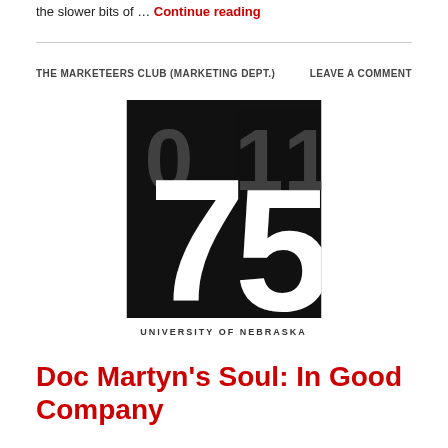the slower bits of … Continue reading
THE MARKETEERS CLUB (MARKETING DEPT.)   LEAVE A COMMENT
[Figure (logo): University of Nebraska 75th anniversary logo — large black rectangle with bold white/grey numerals '75' and smaller '0' and '11' in grey above, with 'UNIVERSITY OF NEBRASKA' text at bottom]
Doc Martyn's Soul: In Good Company